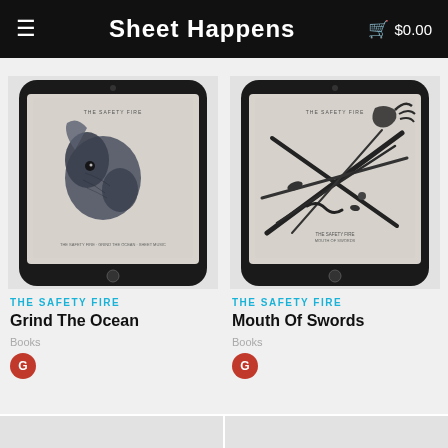Sheet Happens   $0.00
[Figure (screenshot): Tablet device showing 'Grind The Ocean' album art by The Safety Fire — a dark illustration of a bird on a light background]
THE SAFETY FIRE
Grind The Ocean
Books
[Figure (screenshot): Tablet device showing 'Mouth Of Swords' album art by The Safety Fire — an illustration of crossed sticks/tools and a hand on a light background]
THE SAFETY FIRE
Mouth Of Swords
Books